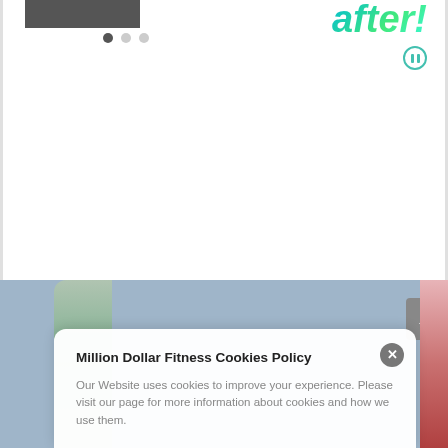[Figure (screenshot): Top portion of a website showing a partial photo, carousel dot indicators, and stylized 'after!' logo text in teal/green gradient with a pause icon circle]
[Figure (screenshot): Scroll-to-top button (grey rounded rectangle with upward chevron) on the right edge]
[Figure (screenshot): Cookie consent popup overlay with close button, title, and body text, on a blue-grey footer background]
Million Dollar Fitness Cookies Policy
Our Website uses cookies to improve your experience. Please visit our page for more information about cookies and how we use them.